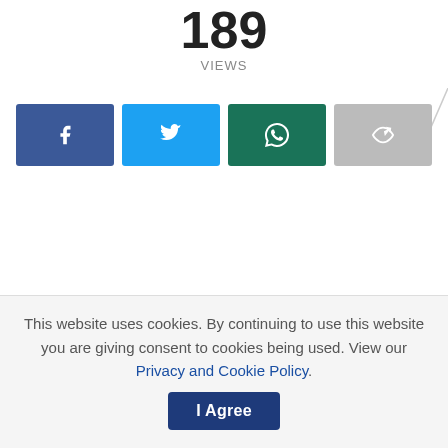189
VIEWS
[Figure (infographic): Social share buttons: Facebook (dark blue with f icon), Twitter (light blue with bird icon), WhatsApp (dark green with phone icon), Share (grey with arrow icon)]
This website uses cookies. By continuing to use this website you are giving consent to cookies being used. View our Privacy and Cookie Policy.
I Agree